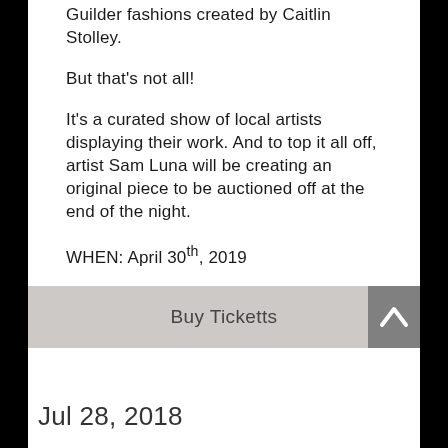Guilder fashions created by Caitlin Stolley.
But that's not all!
It's a curated show of local artists displaying their work. And to top it all off, artist Sam Luna will be creating an original piece to be auctioned off at the end of the night.
WHEN: April 30th, 2019
WHERE: The Crying Wolf, Nashville
TIME: 7:30 PM - 11:00 PM
Buy Ticketts
Jul 28, 2018